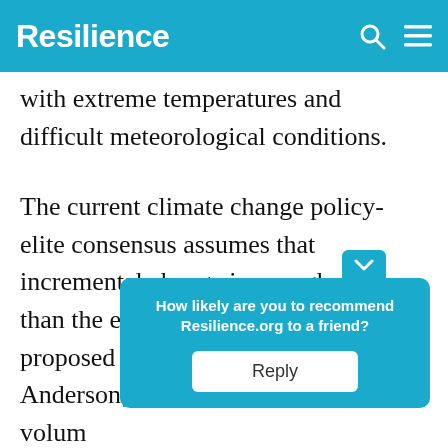Resilience
with extreme temperatures and difficult meteorological conditions.
The current climate change policy-elite consensus assumes that incremental change is enough, rather than the emergency-style response proposed by such individuals as Kevin Anderson[1]. In the fa... volum... repres... ures
[Figure (screenshot): Survey popup overlay asking 'How likely are you to recommend Resilience.org to a friend?' with a Reply button, displayed over the article text.]